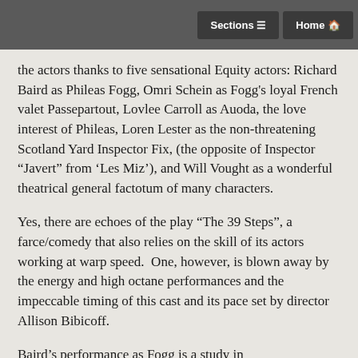Sections  Home
the actors thanks to five sensational Equity actors: Richard Baird as Phileas Fogg, Omri Schein as Fogg’s loyal French valet Passepartout, Lovlee Carroll as Auoda, the love interest of Phileas, Loren Lester as the non-threatening Scotland Yard Inspector Fix, (the opposite of Inspector “Javert” from ‘Les Miz’), and Will Vought as a wonderful theatrical general factotum of many characters.
Yes, there are echoes of the play “The 39 Steps”, a farce/comedy that also relies on the skill of its actors working at warp speed.  One, however, is blown away by the energy and high octane performances and the impeccable timing of this cast and its pace set by director Allison Bibicoff.
Baird’s performance as Fogg is a study in